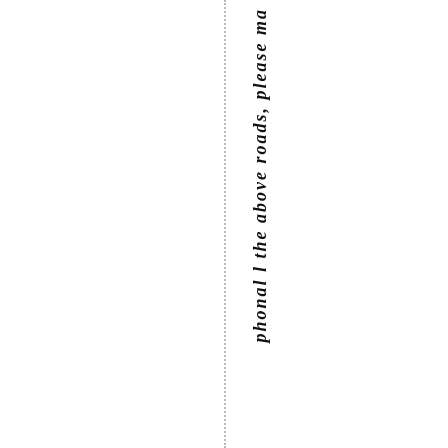phonal l the above roads, please ma